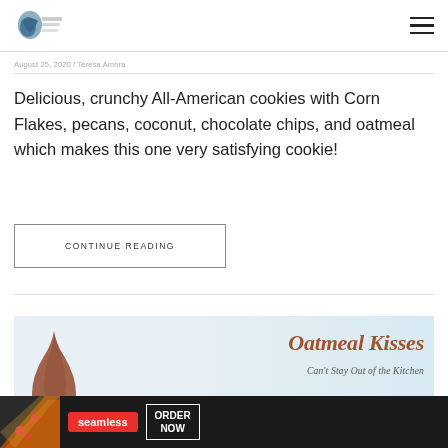Can't Stay Out of the Kitchen [logo] [hamburger menu]
August 25, 2020 / Teresa Ambra
Delicious, crunchy All-American cookies with Corn Flakes, pecans, coconut, chocolate chips, and oatmeal which makes this one very satisfying cookie!
CONTINUE READING
[Figure (illustration): Oatmeal Kisses promotional banner with chocolate Hershey kiss and text 'Oatmeal Kisses Can't Stay Out of the Kitchen' with CLOSE button]
[Figure (screenshot): Seamless food delivery advertisement banner with pizza image, Seamless logo, and ORDER NOW button]